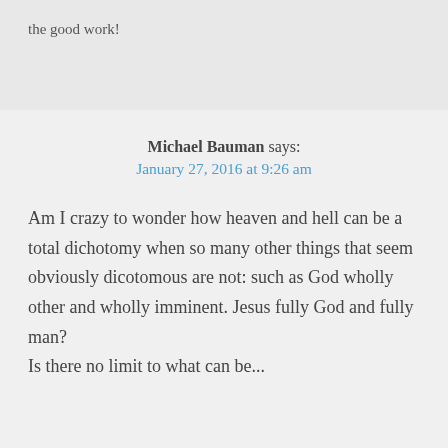the good work!
Michael Bauman says:
January 27, 2016 at 9:26 am
Am I crazy to wonder how heaven and hell can be a total dichotomy when so many other things that seem obviously dicotomous are not: such as God wholly other and wholly imminent. Jesus fully God and fully man?
Is there no limit to what can be...